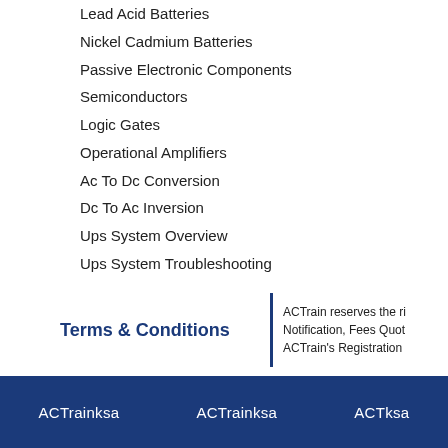Lead Acid Batteries
Nickel Cadmium Batteries
Passive Electronic Components
Semiconductors
Logic Gates
Operational Amplifiers
Ac To Dc Conversion
Dc To Ac Inversion
Ups System Overview
Ups System Troubleshooting
Terms & Conditions
ACTrain reserves the ri Notification, Fees Quo ACTrain's Registration
ACTrainksa   ACTrainksa   ACTksa